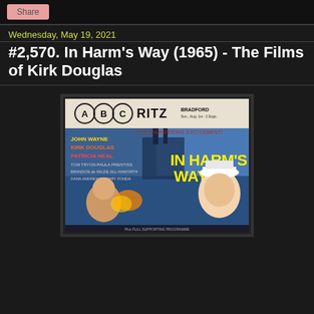Share
Wednesday, May 19, 2021
#2,570. In Harm's Way (1965) - The Films of Kirk Douglas
[Figure (photo): Movie poster for 'In Harm's Way' (1965) displayed at ABC Ritz Bradford cinema. Poster shows John Wayne as a naval officer, Kirk Douglas, Patricia Neal, and other cast members including Tom Tryon, Paula Prentiss, Brandon de Wilde, Jill Haworth, Dana Andrews, Henry Fonda. Title text reads 'In Harm's Way' with tagline 'It's Thundering Excitement!']